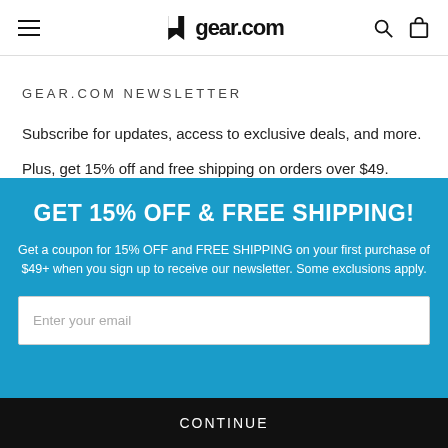gear.com
GEAR.COM NEWSLETTER
Subscribe for updates, access to exclusive deals, and more.
Plus, get 15% off and free shipping on orders over $49. Some exclusions apply.
GET 15% OFF & FREE SHIPPING!
Get a coupon for 15% OFF and FREE SHIPPING on your first purchase of $49+ when you sign up to receive our newsletter. Some exclusions apply.
Enter your email
CONTINUE